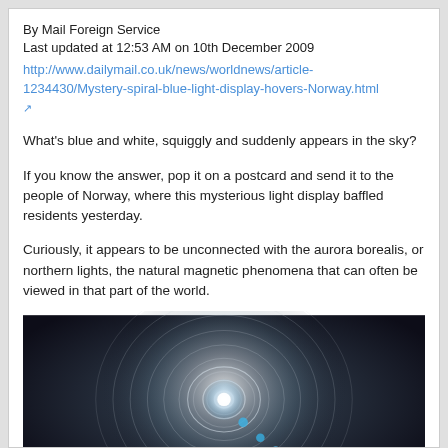By Mail Foreign Service
Last updated at 12:53 AM on 10th December 2009
http://www.dailymail.co.uk/news/worldnews/article-1234430/Mystery-spiral-blue-light-display-hovers-Norway.html
What's blue and white, squiggly and suddenly appears in the sky?
If you know the answer, pop it on a postcard and send it to the people of Norway, where this mysterious light display baffled residents yesterday.
Curiously, it appears to be unconnected with the aurora borealis, or northern lights, the natural magnetic phenomena that can often be viewed in that part of the world.
[Figure (photo): Dark night sky photograph showing a mysterious white spiral light phenomenon with a bright blue light beam emanating from the center, spiral rings visible around a central bright point, against a dark blue-black sky]